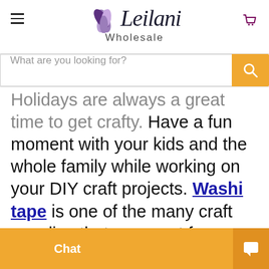[Figure (logo): Leilani Wholesale logo with purple butterfly/flower leaves and italic serif wordmark]
What are you looking for?
Holidays are always a great time to get crafty. Have a fun moment with your kids and the whole family while working on your DIY craft projects. Washi tape is one of the many craft supplies that are great for making easy holiday crafts. With washi tape, everyone can make various hand made party craft decor. Together with other crafting tools and supplies, make creative holiday greeting cards, artistic Merry Christmas garlands or banners, stylish favor
Chat